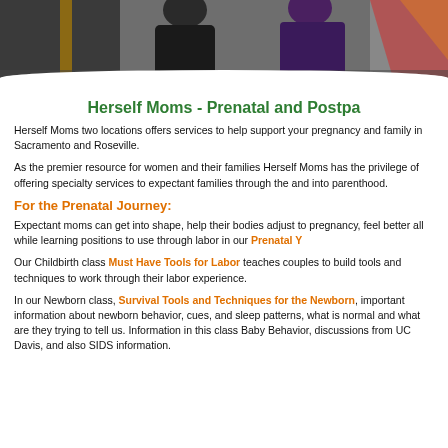[Figure (photo): Photo of pregnant women or mothers at top of page, dark background with people visible from waist down]
Herself Moms - Prenatal and Postpa...
Herself Moms two locations offers services to help support your pregnancy and family in Sacramento and Roseville.
As the premier resource for women and their families Herself Moms has the privilege of offering specialty services to expectant families through the... and into parenthood.
For the Prenatal Journey:
Expectant moms can get into shape, help their bodies adjust to pregnancy, feel better all while learning positions to use through labor in our Prenatal Y...
Our Childbirth class Must Have Tools for Labor teaches couples to build tools and techniques to work through their labor experience.
In our Newborn class, Survival Tools and Techniques for the Newbo... important information about newborn behavior, cues, and sleep patterns... what is normal and what are they trying to tell us. Information in this cla... Baby Behavior, discussions from UC Davis, and also SIDS info...